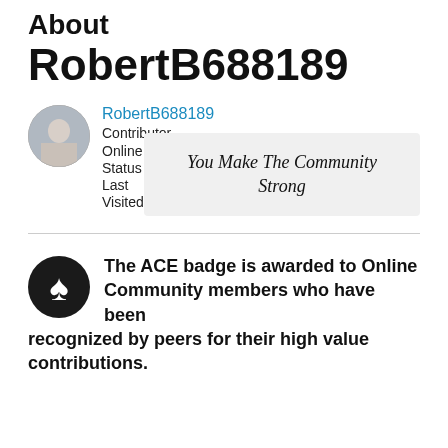About RobertB688189
RobertB688189
Contributor
Online Status ●
Last Visited 06-22-2‹ 10:15 AM
You Make The Community Strong
The ACE badge is awarded to Online Community members who have been recognized by peers for their high value contributions.